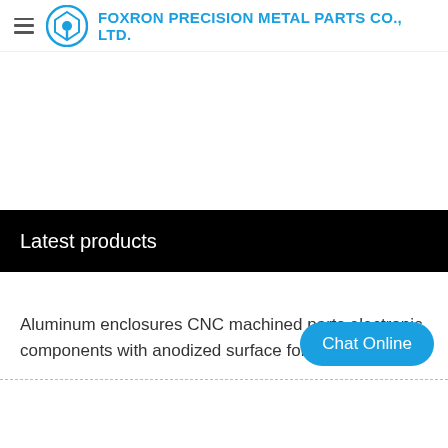FOXRON PRECISION METAL PARTS CO., LTD.
Latest products
Aluminum enclosures CNC machined parts electronic components with anodized surface for audio d
Chat Online